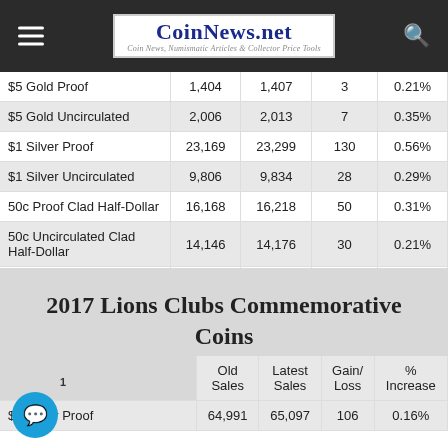CoinNews.net — Coin News, Numismatic Articles & Collector Price Tools
|  | Old Sales | Latest Sales | Gain/Loss | % Increase |
| --- | --- | --- | --- | --- |
| $5 Gold Proof | 1,404 | 1,407 | 3 | 0.21% |
| $5 Gold Uncirculated | 2,006 | 2,013 | 7 | 0.35% |
| $1 Silver Proof | 23,169 | 23,299 | 130 | 0.56% |
| $1 Silver Uncirculated | 9,806 | 9,834 | 28 | 0.29% |
| 50c Proof Clad Half-Dollar | 16,168 | 16,218 | 50 | 0.31% |
| 50c Uncirculated Clad Half-Dollar | 14,146 | 14,176 | 30 | 0.21% |
| Three-Coin Proof Set | 5,065 | 5,080 | 15 | 0.30% |
2017 Lions Clubs Commemorative Coins
|  | Old Sales | Latest Sales | Gain/Loss | % Increase |
| --- | --- | --- | --- | --- |
| $1 Silver Proof | 64,991 | 65,097 | 106 | 0.16% |